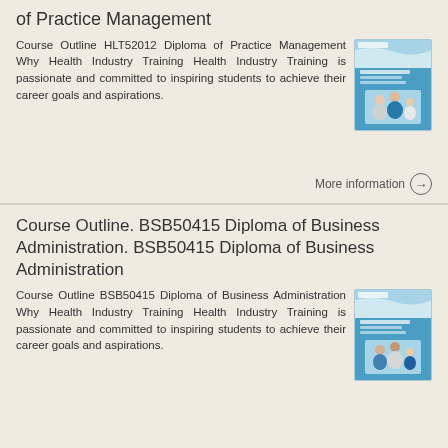of Practice Management
Course Outline HLT52012 Diploma of Practice Management Why Health Industry Training Health Industry Training is passionate and committed to inspiring students to achieve their career goals and aspirations.
[Figure (illustration): Book cover for HLT52012 Diploma of Practice Management with blue design and people image]
More information →
Course Outline. BSB50415 Diploma of Business Administration. BSB50415 Diploma of Business Administration
Course Outline BSB50415 Diploma of Business Administration Why Health Industry Training Health Industry Training is passionate and committed to inspiring students to achieve their career goals and aspirations.
[Figure (illustration): Book cover for BSB50415 Diploma of Business Administration with blue design and people image]
More information →